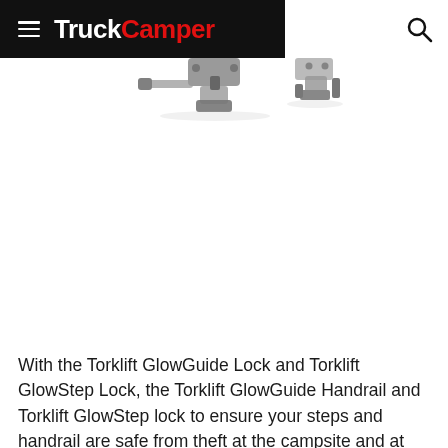TruckCamper
[Figure (photo): Partial product photo of Torklift GlowGuide Lock hardware components against white background, cropped at top of page]
With the Torklift GlowGuide Lock and Torklift GlowStep Lock, the Torklift GlowGuide Handrail and Torklift GlowStep lock to ensure your steps and handrail are safe from theft at the campsite and at